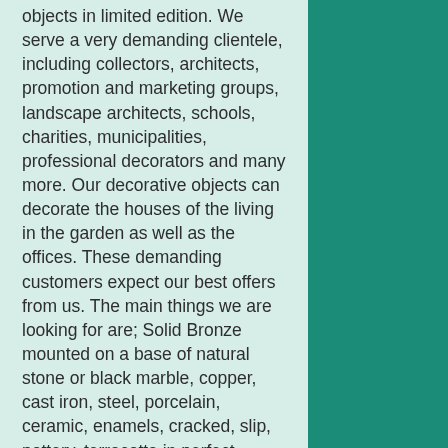objects in limited edition. We serve a very demanding clientele, including collectors, architects, promotion and marketing groups, landscape architects, schools, charities, municipalities, professional decorators and many more. Our decorative objects can decorate the houses of the living in the garden as well as the offices. These demanding customers expect our best offers from us. The main things we are looking for are; Solid Bronze mounted on a base of natural stone or black marble, copper, cast iron, steel, porcelain, ceramic, enamels, cracked, slip, pottery, terracotta in perfect condition to offer as a gift. Our major research focuses on the themes; Acrobat, Alsatian, Amalthea, Apollo, Harlequin, Bather, boat, Baby, jewelry box, tobacco box, butcher, candle holder, bottle, bust, ashtray, table Center, mushroom, candlestick, Knight, Columbine, fruit bowl, cup, jug,